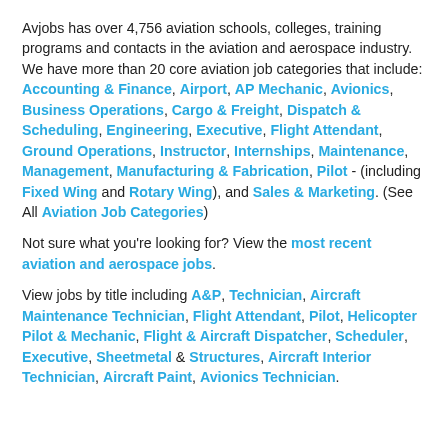Avjobs has over 4,756 aviation schools, colleges, training programs and contacts in the aviation and aerospace industry. We have more than 20 core aviation job categories that include: Accounting & Finance, Airport, AP Mechanic, Avionics, Business Operations, Cargo & Freight, Dispatch & Scheduling, Engineering, Executive, Flight Attendant, Ground Operations, Instructor, Internships, Maintenance, Management, Manufacturing & Fabrication, Pilot - (including Fixed Wing and Rotary Wing), and Sales & Marketing. (See All Aviation Job Categories)
Not sure what you're looking for? View the most recent aviation and aerospace jobs.
View jobs by title including A&P, Technician, Aircraft Maintenance Technician, Flight Attendant, Pilot, Helicopter Pilot & Mechanic, Flight & Aircraft Dispatcher, Scheduler, Executive, Sheetmetal & Structures, Aircraft Interior Technician, Aircraft Paint, Avionics Technician.